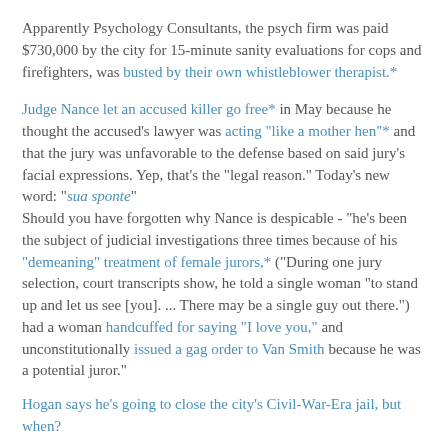Apparently Psychology Consultants, the psych firm was paid $730,000 by the city for 15-minute sanity evaluations for cops and firefighters, was busted by their own whistleblower therapist.*
Judge Nance let an accused killer go free* in May because he thought the accused's lawyer was acting "like a mother hen"* and that the jury was unfavorable to the defense based on said jury's facial expressions. Yep, that's the "legal reason." Today's new word: "sua sponte"
Should you have forgotten why Nance is despicable - "he's been the subject of judicial investigations three times because of his "demeaning" treatment of female jurors,* ("During one jury selection, court transcripts show, he told a single woman "to stand up and let us see [you]. ... There may be a single guy out there.") had a woman handcuffed for saying "I love you," and unconstitutionally issued a gag order to Van Smith because he was a potential juror."
Hogan says he's going to close the city's Civil-War-Era jail, but when?